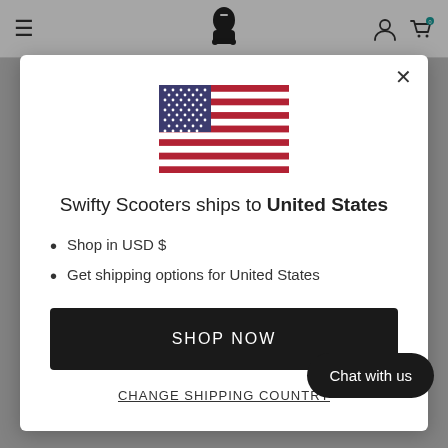≡  [Swifty Scooters logo]  [user icon] [cart icon with 0]
[Figure (illustration): US flag SVG illustration centered in modal]
Swifty Scooters ships to United States
Shop in USD $
Get shipping options for United States
SHOP NOW
CHANGE SHIPPING COUNTRY
lanes or the rocky mountain trails. Swifty                 all terrain.
Chat with us